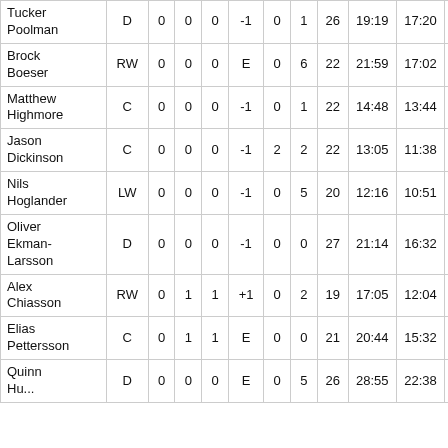| Tucker Poolman | D | 0 | 0 | 0 | -1 | 0 | 1 | 26 | 19:19 | 17:20 | 0:00 |  |
| Brock Boeser | RW | 0 | 0 | 0 | E | 0 | 6 | 22 | 21:59 | 17:02 | 4:57 |  |
| Matthew Highmore | C | 0 | 0 | 0 | -1 | 0 | 1 | 22 | 14:48 | 13:44 | 0:00 |  |
| Jason Dickinson | C | 0 | 0 | 0 | -1 | 2 | 2 | 22 | 13:05 | 11:38 | 0:00 |  |
| Nils Hoglander | LW | 0 | 0 | 0 | -1 | 0 | 5 | 20 | 12:16 | 10:51 | 1:25 |  |
| Oliver Ekman-Larsson | D | 0 | 0 | 0 | -1 | 0 | 0 | 27 | 21:14 | 16:32 | 1:17 |  |
| Alex Chiasson | RW | 0 | 1 | 1 | +1 | 0 | 2 | 19 | 17:05 | 12:04 | 5:01 |  |
| Elias Pettersson | C | 0 | 1 | 1 | E | 0 | 0 | 21 | 20:44 | 15:32 | 4:35 |  |
| Quinn Hughes | D | 0 | 0 | 0 | E | 0 | 5 | 26 | 28:55 | 22:38 | 4:43 |  |